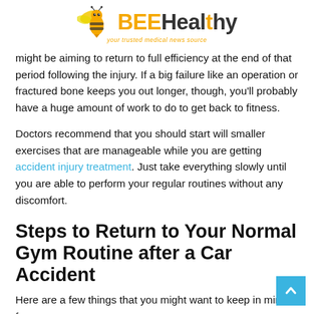BEEHealthy — your trusted medical news source
might be aiming to return to full efficiency at the end of that period following the injury. If a big failure like an operation or fractured bone keeps you out longer, though, you'll probably have a huge amount of work to do to get back to fitness.
Doctors recommend that you should start will smaller exercises that are manageable while you are getting accident injury treatment. Just take everything slowly until you are able to perform your regular routines without any discomfort.
Steps to Return to Your Normal Gym Routine after a Car Accident
Here are a few things that you might want to keep in mind for